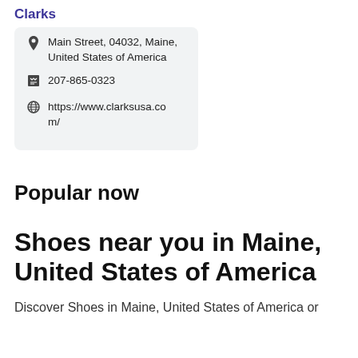Clarks
Main Street, 04032, Maine, United States of America
207-865-0323
https://www.clarksusa.com/
Popular now
Shoes near you in Maine, United States of America
Discover Shoes in Maine, United States of America or